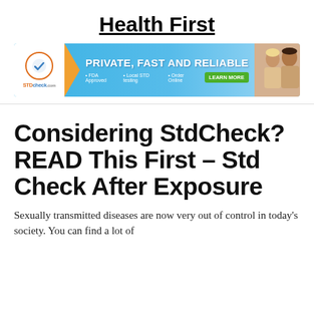Health First
[Figure (infographic): STDcheck.com advertisement banner: 'PRIVATE, FAST AND RELIABLE' with FDA Approved, Local STD testing, Order Online bullet points and a LEARN MORE button. Shows STDcheck.com logo and couple photo.]
Considering StdCheck? READ This First – Std Check After Exposure
Sexually transmitted diseases are now very out of control in today's society. You can find a lot of